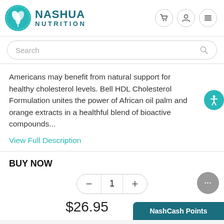[Figure (logo): Nashua Nutrition logo with teal circular leaf icon and brand name]
Search
Americans may benefit from natural support for healthy cholesterol levels. Bell HDL Cholesterol Formulation unites the power of African oil palm and orange extracts in a healthful blend of bioactive compounds...
View Full Description
BUY NOW
1
$26.95
NashCash Points